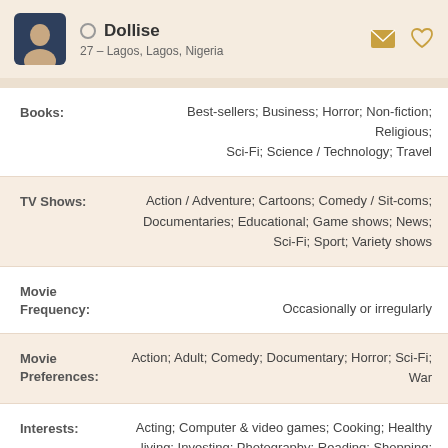Dollise — 27 – Lagos, Lagos, Nigeria
Books: Best-sellers; Business; Horror; Non-fiction; Religious; Sci-Fi; Science / Technology; Travel
TV Shows: Action / Adventure; Cartoons; Comedy / Sit-coms; Documentaries; Educational; Game shows; News; Sci-Fi; Sport; Variety shows
Movie Frequency: Occasionally or irregularly
Movie Preferences: Action; Adult; Comedy; Documentary; Horror; Sci-Fi; War
Interests: Acting; Computer & video games; Cooking; Healthy living; Investing; Photography; Reading; Shopping; Singing; Surfing the Internet; Yoga